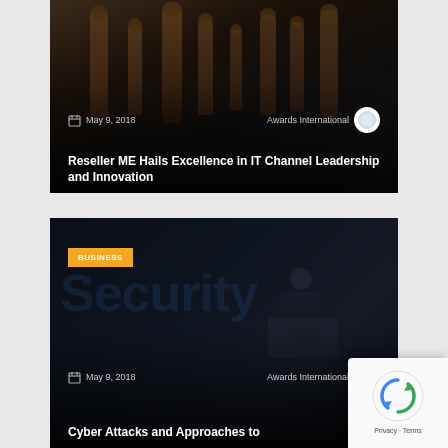[Figure (photo): Dark background image of chess pieces with overlay text - card for article about Reseller ME]
May 9, 2018   Awards International
Reseller ME Hails Excellence in IT Channel Leadership and Innovation
[Figure (photo): Dark security-themed image with the word 'security' in background and person looking at phone, BUSINESS badge]
May 9, 2018   Awards International
Cyber Attacks and Approaches to